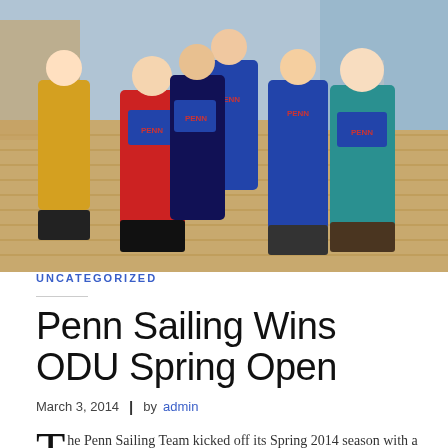[Figure (photo): Group photo of Penn Sailing Team members on a wooden dock/pier. Several people wearing blue PENN life vests/sailing gear, one person in a yellow jacket, one in a red drysuit. Water and railing visible in background.]
UNCATEGORIZED
Penn Sailing Wins ODU Spring Open
March 3, 2014  |  by admin
The Penn Sailing Team kicked off its Spring 2014 season with a